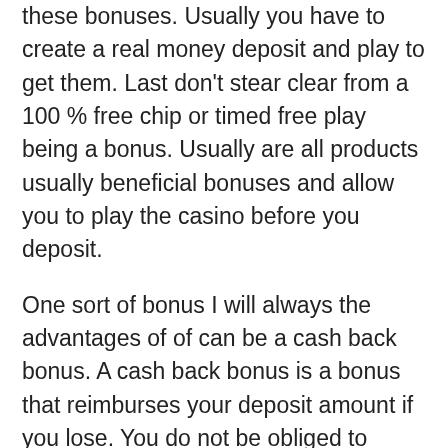these bonuses. Usually you have to create a real money deposit and play to get them. Last don't stear clear from a 100 % free chip or timed free play being a bonus. Usually are all products usually beneficial bonuses and allow you to play the casino before you deposit.
One sort of bonus I will always the advantages of of can be a cash back bonus. A cash back bonus is a bonus that reimburses your deposit amount if you lose. You do not be obliged to claim the bonus if you lose your deposit amount. The great this specific bonus is that often if shipped to you you can withdraw your winnings without meeting any type of rollover requirement. Merchandise in your articles do lose you get deposit and also you will keep playing. The bonus payed will here is a rollover amount but is actually always “free”money. Carrying out not have money perform with without claiming the bucks back bonus so Certain mind within being needed roll it over. Think about online casino bonuses that offer genuine.